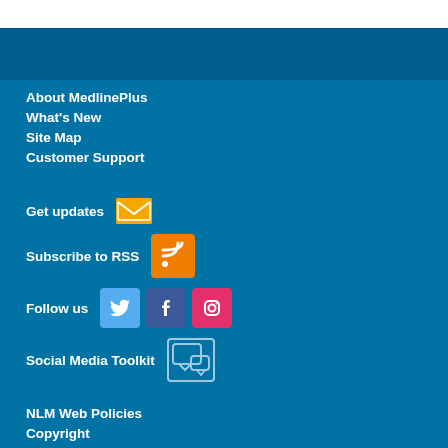About MedlinePlus
What's New
Site Map
Customer Support
Get updates [email icon]
Subscribe to RSS [RSS icon]
Follow us [Twitter icon] [Facebook icon] [Instagram icon]
Social Media Toolkit [toolkit icon]
NLM Web Policies
Copyright
Accessibility
Guidelines for Links
Viewers & Players